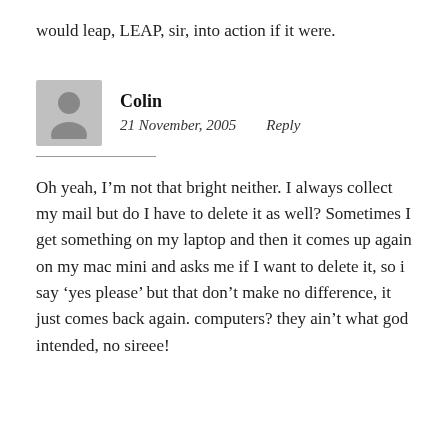would leap, LEAP, sir, into action if it were.
Colin
21 November, 2005   Reply
Oh yeah, I’m not that bright neither. I always collect my mail but do I have to delete it as well? Sometimes I get something on my laptop and then it comes up again on my mac mini and asks me if I want to delete it, so i say ‘yes please’ but that don’t make no difference, it just comes back again. computers? they ain’t what god intended, no sireee!